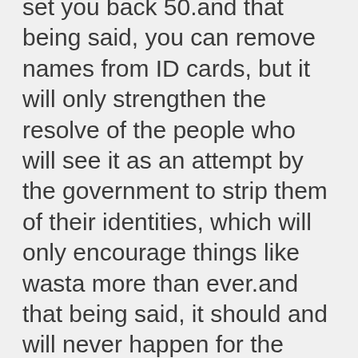set you back 50.and that being said, you can remove names from ID cards, but it will only strengthen the resolve of the people who will see it as an attempt by the government to strip them of their identities, which will only encourage things like wasta more than ever.and that being said, it should and will never happen for the simple the reason that if anyone was to suggest it seriously they would be laughed by the overwhelming majority of the country. and if anyone was to seriously implement it, they would likely not live long enough to see it happen.